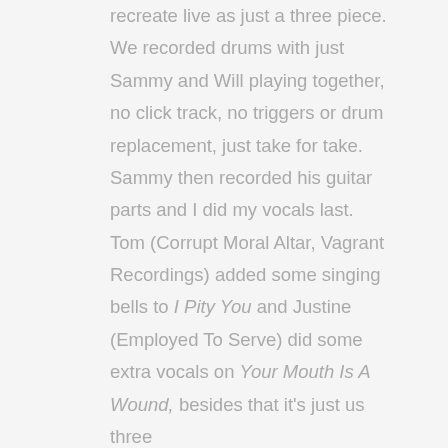recreate live as just a three piece. We recorded drums with just Sammy and Will playing together, no click track, no triggers or drum replacement, just take for take. Sammy then recorded his guitar parts and I did my vocals last. Tom (Corrupt Moral Altar, Vagrant Recordings) added some singing bells to I Pity You and Justine (Employed To Serve) did some extra vocals on Your Mouth Is A Wound, besides that it's just us three